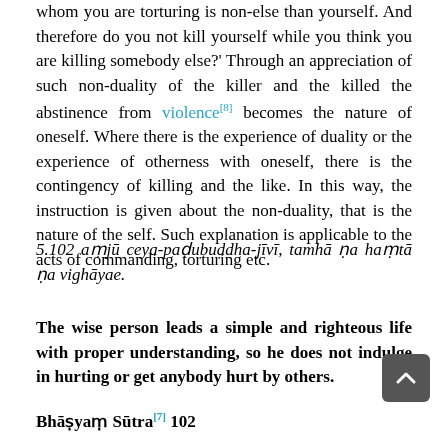whom you are torturing is non-else than yourself. And therefore do you not kill yourself while you think you are killing somebody else?' Through an appreciation of such non-duality of the killer and the killed the abstinence from violence[8] becomes the nature of oneself. Where there is the experience of duality or the experience of otherness with oneself, there is the contingency of killing and the like. In this way, the instruction is given about the non-duality, that is the nature of the self. Such explanation is applicable to the acts of commanding, torturing etc.
5.102 aṃjū ceya-paḍubuddha-jīvī, tamhā ṇa haṃtā ṇa vighāyae.
The wise person leads a simple and righteous life with proper understanding, so he does not indulge in hurting or get anybody hurt by others.
Bhāṣyaṃ Sūtra[7] 102